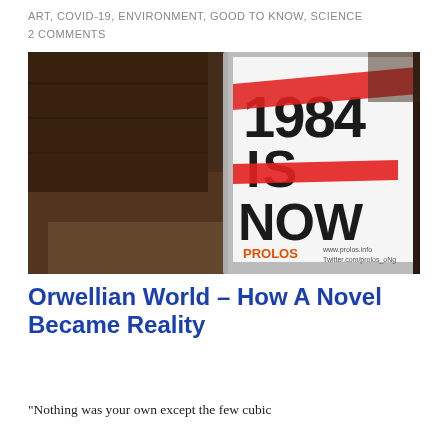ART, COVID-19, ENVIRONMENT, GOOD TO KNOW, SCIENCE
2 COMMENTS
[Figure (photo): A cylindrical poster wrapped around a pole reading '1984 IS NOW' in large black letters with red graphic elements, branded with 'PROLOS' and website URLs at the bottom, set against a blurred brick/wooden background.]
Orwellian World – How A Novel Became Reality
“Nothing was your own except the few cubic